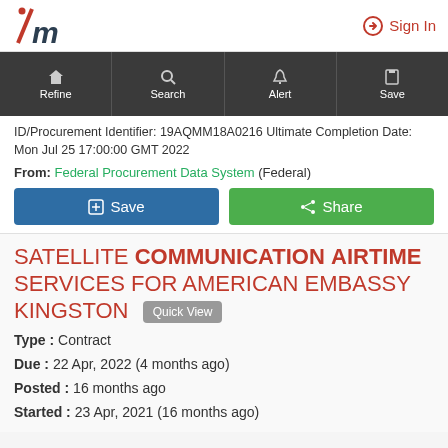[Figure (logo): im logo with italic i in red and m in dark]
Sign In
Refine | Search | Alert | Save navigation bar
ID/Procurement Identifier: 19AQMM18A0216 Ultimate Completion Date: Mon Jul 25 17:00:00 GMT 2022
From: Federal Procurement Data System (Federal)
Save | Share
SATELLITE COMMUNICATION AIRTIME SERVICES FOR AMERICAN EMBASSY KINGSTON
Type : Contract
Due : 22 Apr, 2022 (4 months ago)
Posted : 16 months ago
Started : 23 Apr, 2021 (16 months ago)